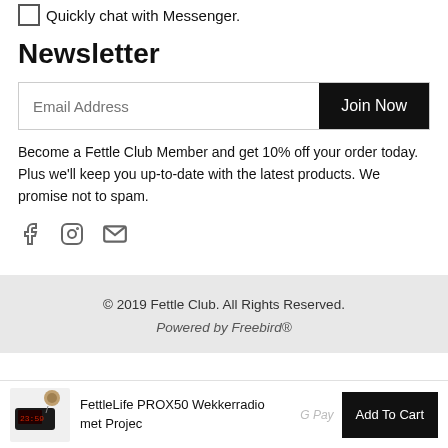Quickly chat with Messenger.
Newsletter
Become a Fettle Club Member and get 10% off your order today. Plus we'll keep you up-to-date with the latest products. We promise not to spam.
[Figure (other): Social media icons: Facebook, Instagram, Email]
© 2019 Fettle Club. All Rights Reserved. Powered by Freebird®
FettleLife PROX50 Wekkerradio met Projec